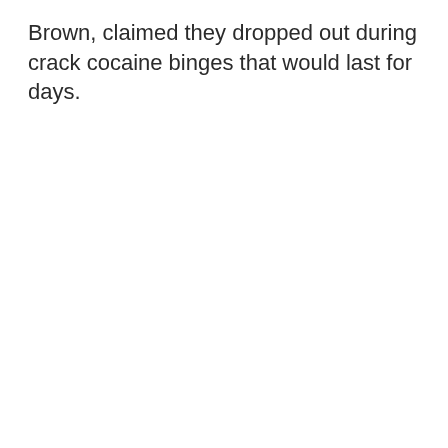Brown, claimed they dropped out during crack cocaine binges that would last for days.